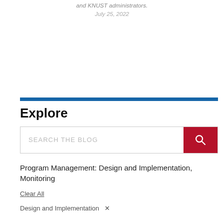and KNUST administrators.
July 25, 2022
Explore
SEARCH THE BLOG
Program Management: Design and Implementation, Monitoring
Clear All
Design and Implementation ×